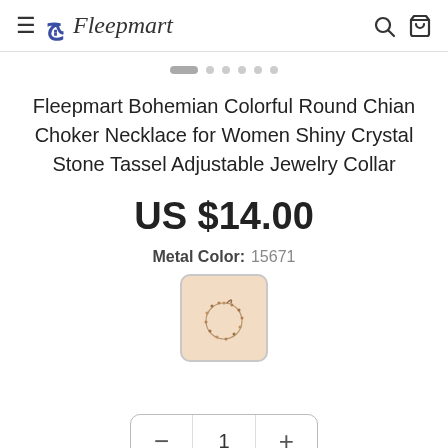Fleepmart
Fleepmart Bohemian Colorful Round Chian Choker Necklace for Women Shiny Crystal Stone Tassel Adjustable Jewelry Collar
US $14.00
Metal Color: 15671
[Figure (photo): Product thumbnail of a necklace on a light beige/peach background, shown in a rounded square swatch]
1